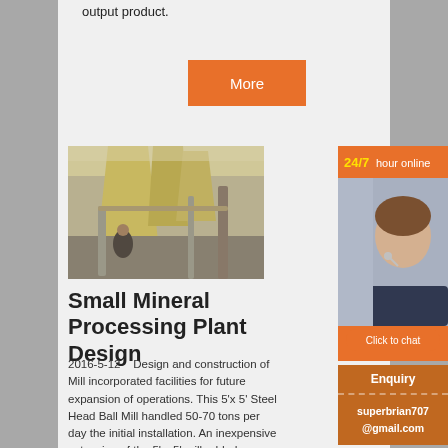output product.
More
[Figure (photo): Interior of a mineral processing mill showing large silos, conveyor systems, and industrial equipment in a factory setting.]
Small Mineral Processing Plant Design
2016-5-12    Design and construction of Mill incorporated facilities for future expansion of operations. This 5'x 5' Steel Head Ball Mill handled 50-70 tons per day the initial installation. An inexpensive extension of the 5' x 5' mill added
[Figure (photo): 24/7 hour online customer service agent - woman wearing a headset with orange banner header showing '24/7 hour online' and a 'Click to chat' button below.]
Enquiry
superbrian707@gmail.com